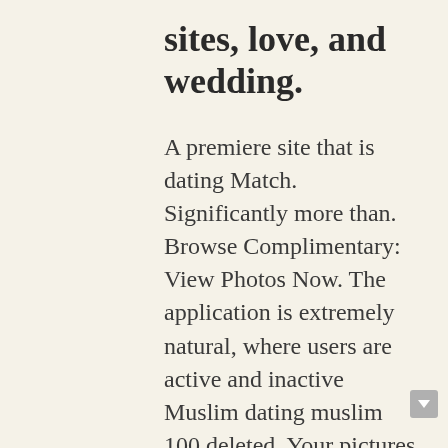sites, love, and wedding.
A premiere site that is dating Match. Significantly more than. Browse Complimentary: View Photos Now. The application is extremely natural, where users are active and inactive Muslim dating muslim 100 deleted. Your pictures may also be password protected. Looking for online profiles is simple on the website, that has search filters